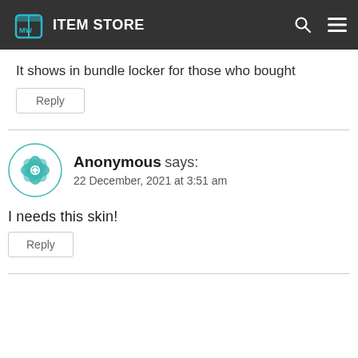ITEM STORE
It shows in bundle locker for those who bought
Reply
Anonymous says:
22 December, 2021 at 3:51 am
I needs this skin!
Reply